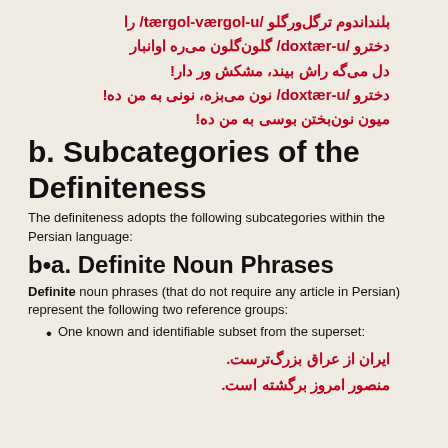بلنداندوم ترگل‌ورگلو /tærgol-værgol-u/ را
دخترو /doxtær-u/ گلون‌گلون می‌ره اوانبار
دل می‌گه راش بیند، مشکش ور دار!
دخترو /doxtær-u/ نون می‌بزه، نونی به من ده!
میون نون‌بختن بوسی به من ده!
b. Subcategories of the Definiteness
The definiteness adopts the following subcategories within the Persian language:
b•a. Definite Noun Phrases
Definite noun phrases (that do not require any article in Persian) represent the following two reference groups:
One known and identifiable subset from the superset:
ایران از عراق بزرگ‌ترست.
منصور امروز برگشته است.